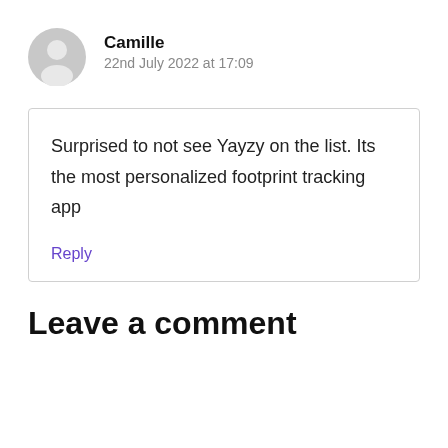Camille
22nd July 2022 at 17:09
Surprised to not see Yayzy on the list. Its the most personalized footprint tracking app
Reply
Leave a comment